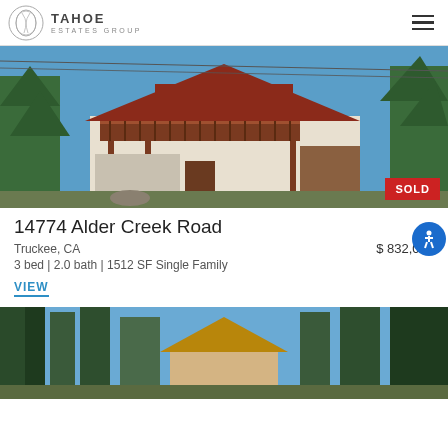TAHOE ESTATES GROUP
[Figure (photo): Red wood cabin-style house with large deck/balcony surrounded by pine trees, blue sky. SOLD badge in bottom right corner.]
14774 Alder Creek Road
Truckee, CA   $ 832,000
3 bed | 2.0 bath | 1512 SF Single Family
VIEW
[Figure (photo): A-frame cabin style house with pine trees in foreground and blue sky visible.]